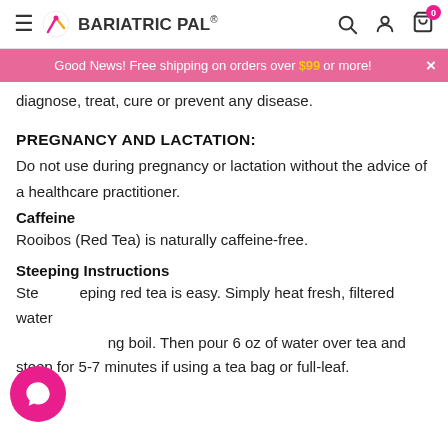BariatricPal
Good News! Free shipping on orders over $99 or more!
diagnose, treat, cure or prevent any disease.
PREGNANCY AND LACTATION:
Do not use during pregnancy or lactation without the advice of a healthcare practitioner.
Caffeine
Rooibos (Red Tea) is naturally caffeine-free.
Steeping Instructions
Steeping red tea is easy. Simply heat fresh, filtered water to a rolling boil. Then pour 6 oz of water over tea and steep for 5-7 minutes if using a tea bag or full-leaf.